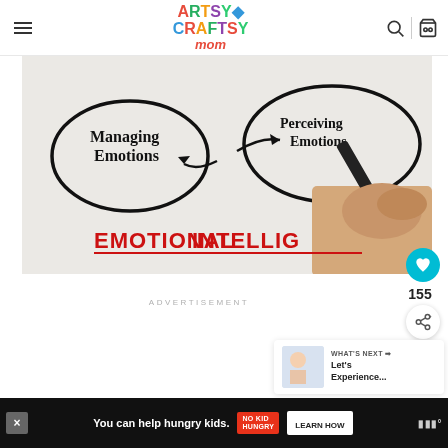Artsy Craftsy Mom
[Figure (illustration): Emotional Intelligence diagram showing 'Managing Emotions' and 'Perceiving Emotions' in circles with arrows, text reads EMOTIONAL INTELLIGENCE in red, hand holding pen drawing the diagram]
155
ADVERTISEMENT
WHAT'S NEXT → Let's Experience...
You can help hungry kids. NO KID HUNGRY LEARN HOW